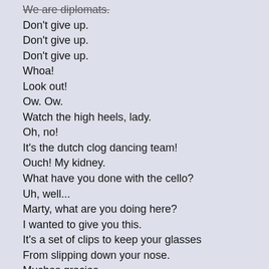We are diplomats.
Don't give up.
Don't give up.
Don't give up.
Whoa!
Look out!
Ow. Ow.
Watch the high heels, lady.
Oh, no!
It's the dutch clog dancing team!
Ouch! My kidney.
What have you done with the cello?
Uh, well...
Marty, what are you doing here?
I wanted to give you this.
It's a set of clips to keep your glasses
From slipping down your nose.
Muchas gracias.
Because of your country's cruel embargo on Cuba,
The factory that made these has shut down.
Oh!